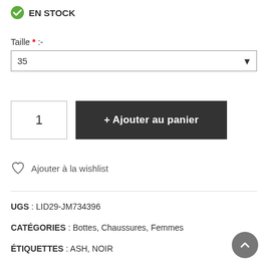EN STOCK
Taille * :-
35
+ Ajouter au panier
Ajouter à la wishlist
UGS : LID29-JM734396
CATÉGORIES : Bottes, Chaussures, Femmes
ÉTIQUETTES : ASH, NOIR